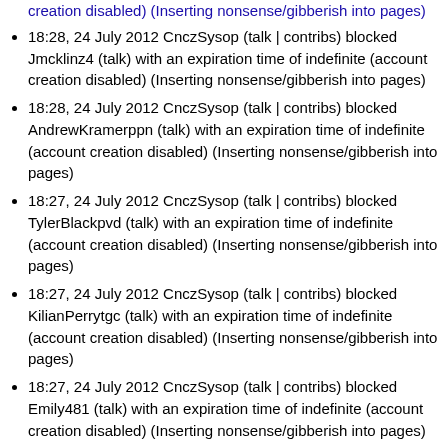creation disabled) (Inserting nonsense/gibberish into pages)
18:28, 24 July 2012 CnczSysop (talk | contribs) blocked Jmcklinz4 (talk) with an expiration time of indefinite (account creation disabled) (Inserting nonsense/gibberish into pages)
18:28, 24 July 2012 CnczSysop (talk | contribs) blocked AndrewKramerppn (talk) with an expiration time of indefinite (account creation disabled) (Inserting nonsense/gibberish into pages)
18:27, 24 July 2012 CnczSysop (talk | contribs) blocked TylerBlackpvd (talk) with an expiration time of indefinite (account creation disabled) (Inserting nonsense/gibberish into pages)
18:27, 24 July 2012 CnczSysop (talk | contribs) blocked KilianPerrytgc (talk) with an expiration time of indefinite (account creation disabled) (Inserting nonsense/gibberish into pages)
18:27, 24 July 2012 CnczSysop (talk | contribs) blocked Emily481 (talk) with an expiration time of indefinite (account creation disabled) (Inserting nonsense/gibberish into pages)
18:27, 24 July 2012 CnczSysop (talk | contribs) blocked Belgrade69 (talk) with an expiration time of indefinite (account creation disabled) (Inserting nonsense/gibberish into pages)
18:26, 24 July 2012 CnczSysop (talk | contribs) blocked